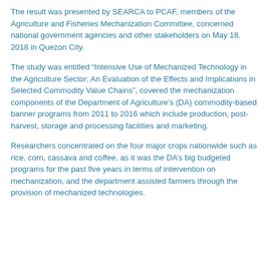The result was presented by SEARCA to PCAF, members of the Agriculture and Fisheries Mechanization Committee, concerned national government agencies and other stakeholders on May 18, 2018 in Quezon City.
The study was entitled “Intensive Use of Mechanized Technology in the Agriculture Sector; An Evaluation of the Effects and Implications in Selected Commodity Value Chains”, covered the mechanization components of the Department of Agriculture’s (DA) commodity-based banner programs from 2011 to 2016 which include production, post-harvest, storage and processing facilities and marketing.
Researchers concentrated on the four major crops nationwide such as rice, corn, cassava and coffee, as it was the DA’s big budgeted programs for the past five years in terms of intervention on mechanization, and the department assisted farmers through the provision of mechanized technologies.